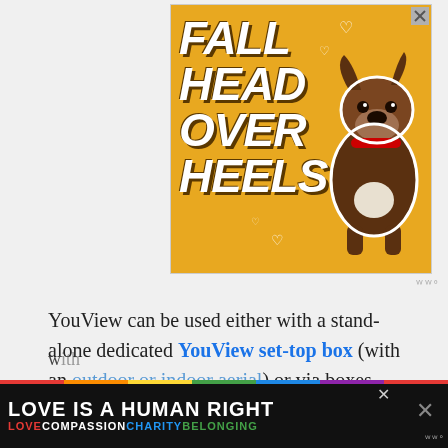[Figure (illustration): Advertisement banner with golden/yellow background showing a brindle dog sitting with text 'FALL HEAD OVER HEELS' in large white italic bold text with drop shadows, and small heart symbols scattered around]
YouView can be used either with a stand-alone dedicated YouView set-top box (with an outdoor or indoor aerial) or via boxes
[Figure (illustration): Bottom advertisement banner with black background, rainbow stripe at top, text 'LOVE IS A HUMAN RIGHT' in large white bold uppercase text, and 'LOVE COMPASSION CHARITY BELONGING' in colored text below]